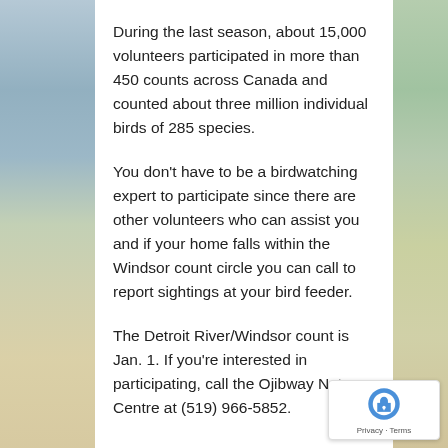During the last season, about 15,000 volunteers participated in more than 450 counts across Canada and counted about three million individual birds of 285 species.
You don't have to be a birdwatching expert to participate since there are other volunteers who can assist you and if your home falls within the Windsor count circle you can call to report sightings at your bird feeder.
The Detroit River/Windsor count is Jan. 1. If you're interested in participating, call the Ojibway Nature Centre at (519) 966-5852.